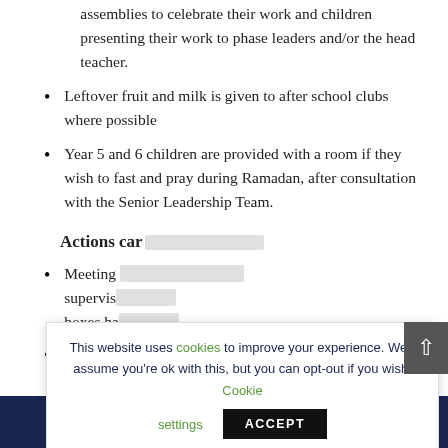assemblies to celebrate their work and children presenting their work to phase leaders and/or the head teacher.
Leftover fruit and milk is given to after school clubs where possible
Year 5 and 6 children are provided with a room if they wish to fast and pray during Ramadan, after consultation with the Senior Leadership Team.
Actions car[ried out this year:]
Meeting [with] supervis[ors...] boxes ha[ve...]
North Ea[st...] Horizon[...]
This website uses cookies to improve your experience. We'll assume you're ok with this, but you can opt-out if you wish. Cookie settings ACCEPT
QUICKLINKS